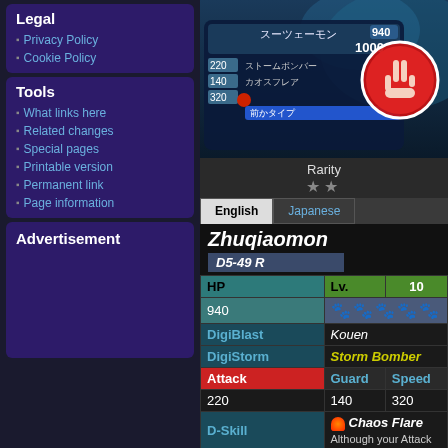Legal
Privacy Policy
Cookie Policy
Tools
What links here
Related changes
Special pages
Printable version
Permanent link
Page information
Advertisement
[Figure (screenshot): Digimon card game screenshot showing Japanese card with stats 940/1000, storm bomber, chaos flare moves]
Rarity
★★
|  |  |
| --- | --- |
| Zhuqiaomon |  |
| D5-49 R |  |
| HP | Lv. 10 |
| 940 | icons |
| DigiBlast | Kouen |
| DigiStorm | Storm Bomber |
| Attack | Guard | Speed |
| 220 | 140 | 320 |
| D-Skill | 🔥 Chaos Flare / Although your Attack |